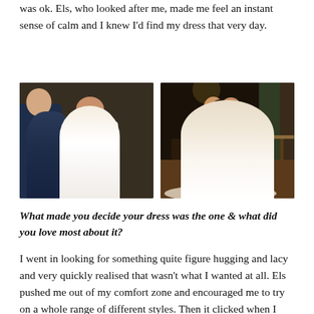was ok. Els, who looked after me, made me feel an instant sense of calm and I knew I'd find my dress that very day.
[Figure (photo): Two wedding photos side by side. Left: bride in white spaghetti-strap wedding gown smiling at ceremony with groom in navy suit. Right: couple embracing on dance floor, bride in large ball gown with long train in a warmly lit room.]
What made you decide your dress was the one & what did you love most about it?
I went in looking for something quite figure hugging and lacy and very quickly realised that wasn't what I wanted at all. Els pushed me out of my comfort zone and encouraged me to try on a whole range of different styles. Then it clicked when I tried on a classic dress with a contemporary twist, from Essence of Australia. It fitted perfectly with a nipped in waist